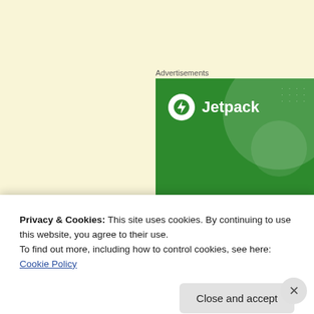[Figure (screenshot): Green Jetpack advertisement banner showing the Jetpack logo (white circle with lightning bolt) and brand name 'Jetpack', decorative green circles, and headline text 'The best real-time WordPress backup' on a dark green background]
Advertisements
Privacy & Cookies: This site uses cookies. By continuing to use this website, you agree to their use.
To find out more, including how to control cookies, see here: Cookie Policy
Close and accept